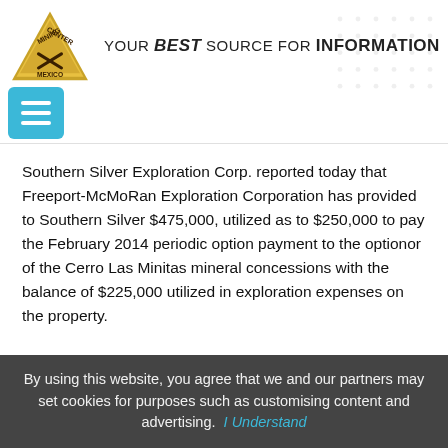Mining Center Mexico — YOUR BEST SOURCE FOR INFORMATION
Southern Silver Exploration Corp. reported today that Freeport-McMoRan Exploration Corporation has provided to Southern Silver $475,000, utilized as to $250,000 to pay the February 2014 periodic option payment to the optionor of the Cerro Las Minitas mineral concessions with the balance of $225,000 utilized in exploration expenses on the property.
« Previous 1 2 3 4 … 17 Next »
By using this website, you agree that we and our partners may set cookies for purposes such as customising content and advertising. I Understand